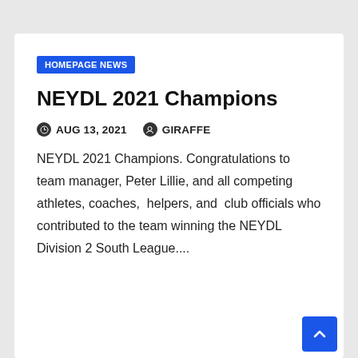HOMEPAGE NEWS
NEYDL 2021 Champions
AUG 13, 2021   GIRAFFE
NEYDL 2021 Champions. Congratulations to team manager, Peter Lillie, and all competing athletes, coaches,  helpers, and  club officials who contributed to the team winning the NEYDL Division 2 South League....